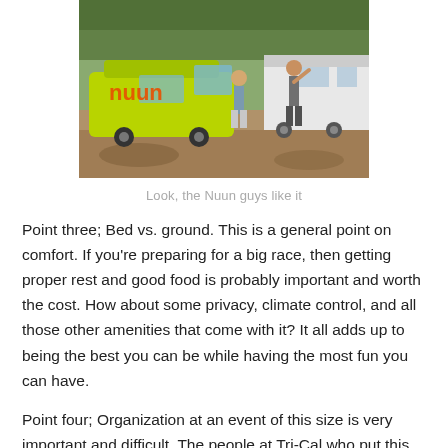[Figure (photo): Two people standing near a bright yellow-green van with 'nuun' branding, parked next to a white trailer/RV on a dirt road surrounded by trees.]
Look, the Nuun guys like it
Point three; Bed vs. ground. This is a general point on comfort. If you're preparing for a big race, then getting proper rest and good food is probably important and worth the cost. How about some privacy, climate control, and all those other amenities that come with it? It all adds up to being the best you can be while having the most fun you can have.
Point four; Organization at an event of this size is very important and difficult. The people at Tri-Cal who put this